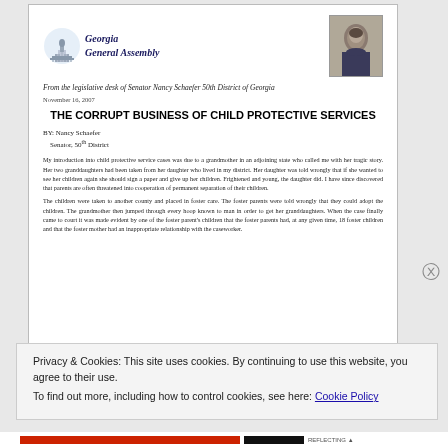[Figure (logo): Georgia General Assembly logo with capitol building illustration and blackletter text]
[Figure (photo): Portrait photo of Senator Nancy Schaefer]
From the legislative desk of Senator Nancy Schaefer 50th District of Georgia
November 16, 2007
THE CORRUPT BUSINESS OF CHILD PROTECTIVE SERVICES
BY: Nancy Schaefer
Senator, 50th District
My introduction into child protective service cases was due to a grandmother in an adjoining state who called me with her tragic story. Her two granddaughters had been taken from her daughter who lived in my district. Her daughter was told wrongly that if she wanted to see her children again she should sign a paper and give up her children. Frightened and young, the daughter did. I have since discovered that parents are often threatened into cooperation of permanent separation of their children.
The children were taken to another county and placed in foster care. The foster parents were told wrongly that they could adopt the children. The grandmother then jumped through every hoop known to man in order to get her granddaughters. When the case finally came to court it was made evident by one of the foster parent's children that the foster parents had, at any given time, 18 foster children and that the foster mother had an inappropriate relationship with the caseworker.
Privacy & Cookies: This site uses cookies. By continuing to use this website, you agree to their use.
To find out more, including how to control cookies, see here: Cookie Policy